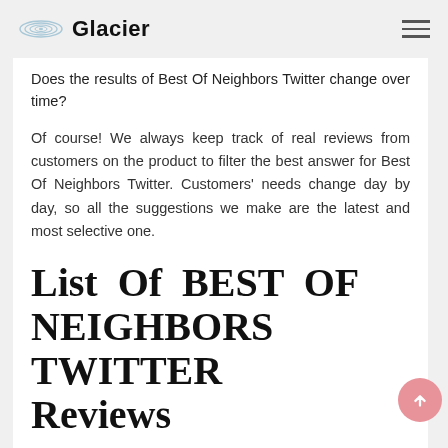Glacier
Does the results of Best Of Neighbors Twitter change over time?
Of course! We always keep track of real reviews from customers on the product to filter the best answer for Best Of Neighbors Twitter. Customers' needs change day by day, so all the suggestions we make are the latest and most selective one.
List Of BEST OF NEIGHBORS TWITTER Reviews